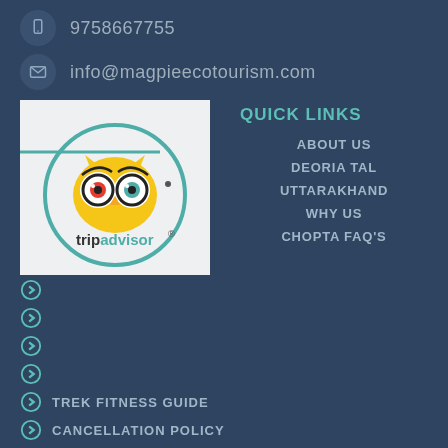9758667755
info@magpieecotourism.com
[Figure (logo): TripAdvisor logo with owl icon inside a teal circle on light grey background]
QUICK LINKS
ABOUT US
DEORIA TAL
UTTARAKHAND
WHY US
CHOPTA FAQ'S
TREK FITNESS GUIDE
CANCELLATION POLICY
RECOMMENDED TREKS
CHANDRASHILA WINTER